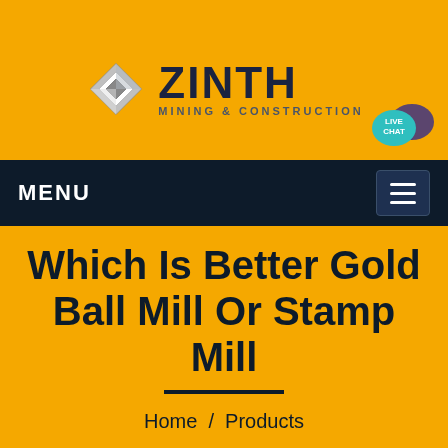[Figure (logo): ZINTH Mining & Construction logo with metallic diamond/square icon and dark text]
MENU
Which Is Better Gold Ball Mill Or Stamp Mill
Home / Products